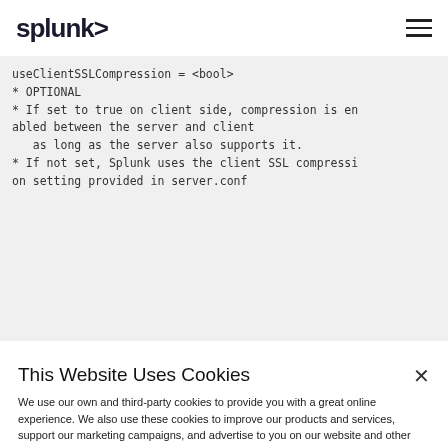splunk>
useClientSSLCompression = <bool>
* OPTIONAL
* If set to true on client side, compression is enabled between the server and client
   as long as the server also supports it.
* If not set, Splunk uses the client SSL compression setting provided in server.conf
This Website Uses Cookies
We use our own and third-party cookies to provide you with a great online experience. We also use these cookies to improve our products and services, support our marketing campaigns, and advertise to you on our website and other websites. Some cookies may continue to collect information after you have left our website. Learn more here
Accept Cookies
Cookies Settings ›